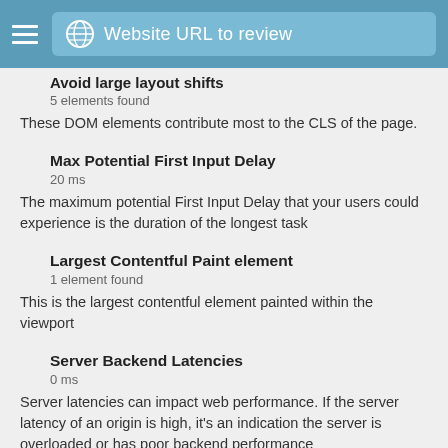Website URL to review
Avoid large layout shifts
5 elements found
These DOM elements contribute most to the CLS of the page.
Max Potential First Input Delay
20 ms
The maximum potential First Input Delay that your users could experience is the duration of the longest task
Largest Contentful Paint element
1 element found
This is the largest contentful element painted within the viewport
Server Backend Latencies
0 ms
Server latencies can impact web performance. If the server latency of an origin is high, it's an indication the server is overloaded or has poor backend performance